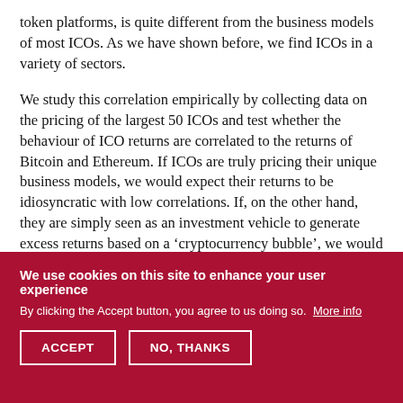token platforms, is quite different from the business models of most ICOs. As we have shown before, we find ICOs in a variety of sectors.
We study this correlation empirically by collecting data on the pricing of the largest 50 ICOs and test whether the behaviour of ICO returns are correlated to the returns of Bitcoin and Ethereum. If ICOs are truly pricing their unique business models, we would expect their returns to be idiosyncratic with low correlations. If, on the other hand, they are simply seen as an investment vehicle to generate excess returns based on a ‘cryptocurrency bubble’, we would expect them to be highly correlated to prices of the major cryptocurrencies.3
We use cookies on this site to enhance your user experience
By clicking the Accept button, you agree to us doing so. More info
ACCEPT
NO, THANKS